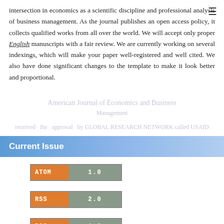intersection in economics as a scientific discipline and professional analysis of business management. As the journal publishes an open access policy, it collects qualified works from all over the world. We will accept only proper English manuscripts with a fair review. We are currently working on several indexings, which will make your paper well-registered and well cited. We also have done significant changes to the template to make it look better and proportional.
American Journal of Economics and Business Management
received the approval by GLOBAL RESEARCH NETWORK called USAID
Current Issue
ATOM 1.0
RSS 2.0
RSS 1.0